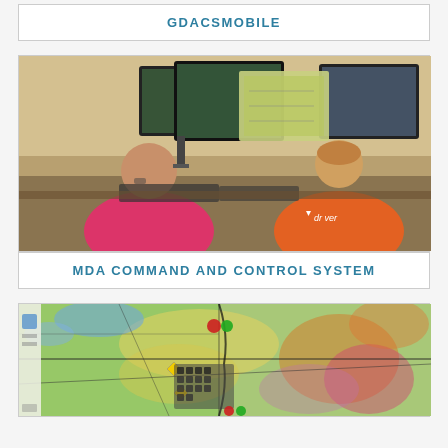GDACSMOBILE
[Figure (photo): Two emergency management personnel in high-visibility vests sitting at a command and control workstation with multiple monitors displaying maps and geographic data. One person holds a printed map.]
MDA COMMAND AND CONTROL SYSTEM
[Figure (screenshot): Screenshot of a GIS-based disaster risk assessment map showing geographic terrain with color-coded risk zones (green, yellow, orange, red/pink), black boundary overlays, and various incident markers including red/green circles and yellow diamond icons.]